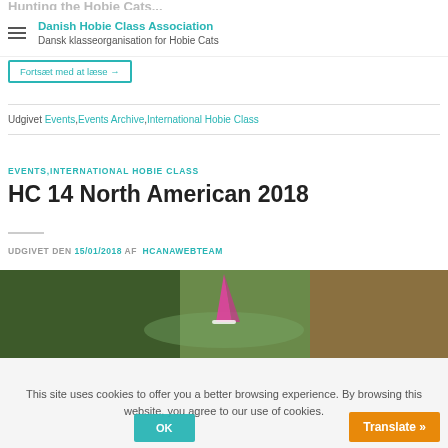Danish Hobie Class Association Dansk klasseorganisation for Hobie Cats
Fortsæt med at læse →
Udgivet Events, Events Archive, International Hobie Class
EVENTS, INTERNATIONAL HOBIE CLASS
HC 14 North American 2018
UDGIVET DEN 15/01/2018 AF HCANAWEBTEAM
[Figure (photo): Aerial photo of a Hobie Cat sailboat with pink/magenta sail on water, surrounded by green landscape]
This site uses cookies to offer you a better browsing experience. By browsing this website, you agree to our use of cookies.